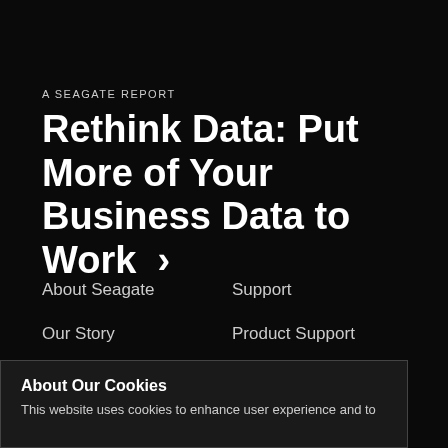A SEAGATE REPORT
Rethink Data: Put More of Your Business Data to Work >
About Seagate
Our Story
Global Citizenship
Trust Center
Support
Product Support
Software Downloads
Warranty & Replacements
About Our Cookies
This website uses cookies to enhance user experience and to